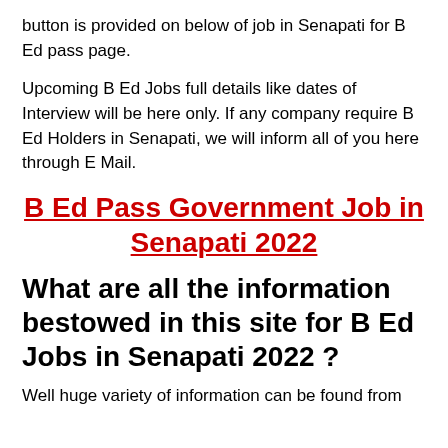button is provided on below of job in Senapati for B Ed pass page.
Upcoming B Ed Jobs full details like dates of Interview will be here only. If any company require B Ed Holders in Senapati, we will inform all of you here through E Mail.
B Ed Pass Government Job in Senapati 2022
What are all the information bestowed in this site for B Ed Jobs in Senapati 2022 ?
Well huge variety of information can be found from